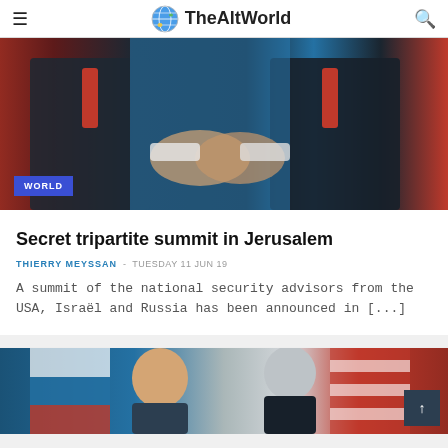TheAltWorld
[Figure (photo): Two men in suits shaking hands, with a blue background visible. A WORLD badge is shown in the lower left corner.]
Secret tripartite summit in Jerusalem
THIERRY MEYSSAN - TUESDAY 11 JUN 19
A summit of the national security advisors from the USA, Israël and Russia has been announced in [...]
[Figure (photo): Two men seen from shoulders up, with blue and red/striped flags in the background. Partial view cut off at bottom of page.]